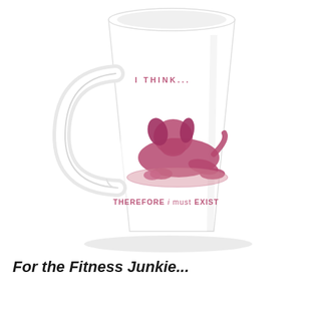[Figure (photo): A white ceramic latte mug with a handle on the left side. On the mug is a pink/magenta image of a dog lying down on a mat, with text above reading 'I THINK...' and below reading 'THEREFORE i must EXIST'.]
For the Fitness Junkie...